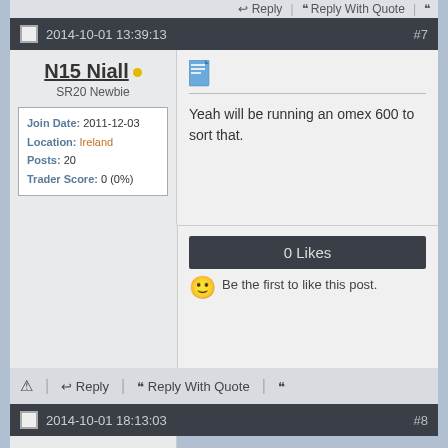Reply | Reply With Quote
2014-10-01 13:39:13  #7
N15 Niall
SR20 Newbie
Join Date: 2011-12-03
Location: Ireland
Posts: 20
Trader Score: 0 (0%)
Yeah will be running an omex 600 to sort that.
0 Likes
Be the first to like this post.
Reply | Reply With Quote
2014-10-01 18:13:03  #8
TheSam
Member
Join Date: 2008-02-21
Location: United Kindoom
Posts: 751
Trader Score: 0 (0%)
So what's gone wrong?
N1 springs retainers